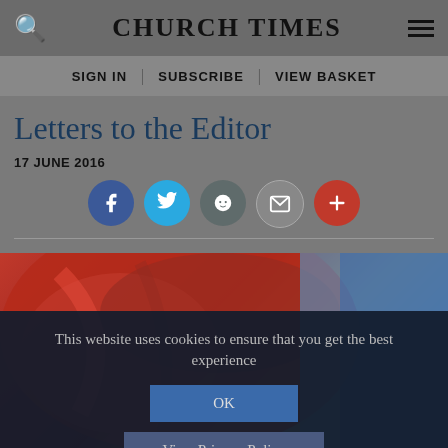CHURCH TIMES
SIGN IN | SUBSCRIBE | VIEW BASKET
Letters to the Editor
17 JUNE 2016
[Figure (other): Social sharing icons: Facebook, Twitter, Reddit, Email, Plus]
[Figure (photo): Partial photo of draped red fabric with blue background, partially obscured by cookie consent overlay]
This website uses cookies to ensure that you get the best experience
OK
View Privacy Policy